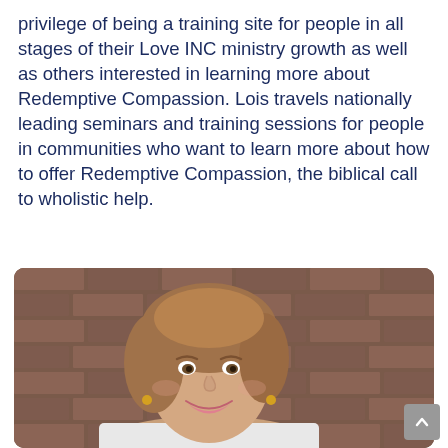privilege of being a training site for people in all stages of their Love INC ministry growth as well as others interested in learning more about Redemptive Compassion. Lois travels nationally leading seminars and training sessions for people in communities who want to learn more about how to offer Redemptive Compassion, the biblical call to wholistic help.
[Figure (photo): A smiling middle-aged woman with brown hair, photographed in front of a brown brick wall background.]